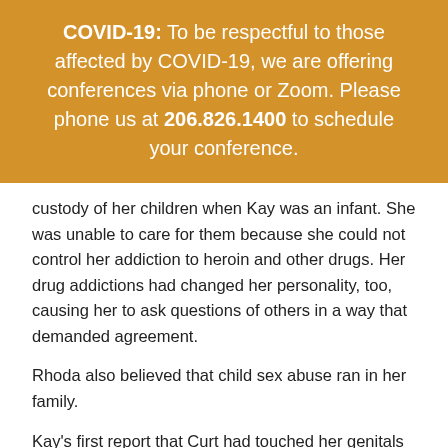COVID-19: To be respectful to those affected by COVID-19, we are offering conferences via phone or Zoom. Please phone us at 206.826.1400 to schedule your conference.
custody of her children when Kay was an infant. She was unable to care for them because she could not control her addiction to heroin and other drugs. Her drug addictions had changed her personality, too, causing her to ask questions of others in a way that demanded agreement.
Rhoda also believed that child sex abuse ran in her family.
Kay's first report that Curt had touched her genitals and inserted a finger in her anus came during a visit to Rhoda at a drug rehabilitation center. David Marshall argued that, though Rhoda denied it, Rhoda probably suspected Curt